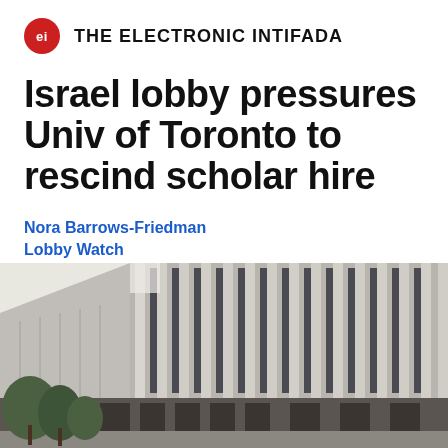ei THE ELECTRONIC INTIFADA
Israel lobby pressures Univ of Toronto to rescind scholar hire
Nora Barrows-Friedman
Lobby Watch
5 October 2020
[Figure (photo): Exterior photo of a modern building with vertical concrete fins/louvers and large windows, with trees visible in the lower left. Appears to be a university building.]